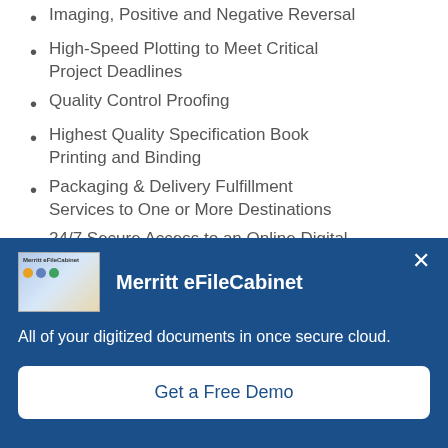Imaging, Positive and Negative Reversal
High-Speed Plotting to Meet Critical Project Deadlines
Quality Control Proofing
Highest Quality Specification Book Printing and Binding
Packaging & Delivery Fulfillment Services to One or More Destinations
24/7 Secure Access to an Online Digital
[Figure (screenshot): Merritt eFileCabinet popup overlay with thumbnail image, title 'Merritt eFileCabinet', description text 'All of your digitized documents in once secure cloud.', and a 'Get a Free Demo' button. Close (x) button in top right.]